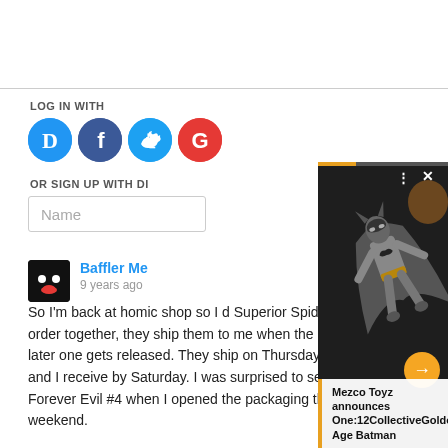LOG IN WITH
[Figure (illustration): Social login icons: Disqus (D, blue circle), Facebook (f, dark blue circle), Twitter (bird, light blue circle), Google (G, red circle)]
OR SIGN UP WITH DI
Name
Baffler Me
9 years ago
So I'm back at home comic shop so I d Superior Spider- order together, they ship them to me when the later one gets released. They ship on Thursday and I receive by Saturday. I was surprised to see Forever Evil #4 when I opened the packaging this weekend.
[Figure (screenshot): Overlay showing a Batman figure in a dark scene, with progress bar at top, close X and dots menu, orange arrow button, and caption box reading 'Mezco Toyz announces One:12CollectiveGolden Age Batman']
Mezco Toyz announces One:12CollectiveGolden Age Batman